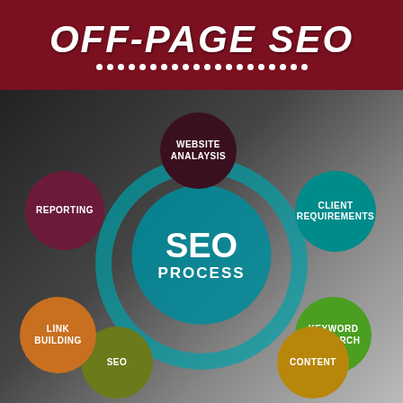OFF-PAGE SEO
[Figure (infographic): SEO Process infographic showing a central teal circle labeled 'SEO PROCESS' surrounded by satellite bubbles: WEBSITE ANALAYSIS (dark maroon, top center), CLIENT REQUIREMENTS (teal, right), KEYWORD RESEARCH (green, lower right), CONTENT (gold, bottom right), SEO (olive, bottom left), LINK BUILDING (orange, left), REPORTING (dark purple, upper left). Background shows blurred image of hands/person.]